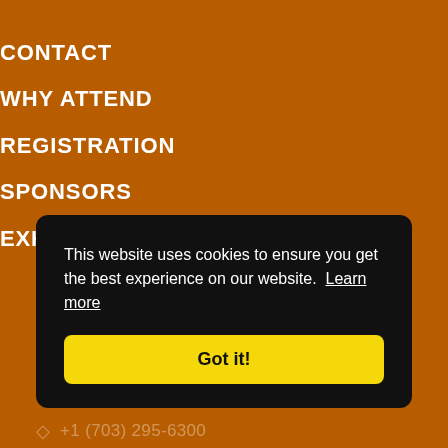CONTACT
WHY ATTEND
REGISTRATION
SPONSORS
EXHIBITORS
This website uses cookies to ensure you get the best experience on our website. Learn more
Got it!
+1 (703) 295-6300